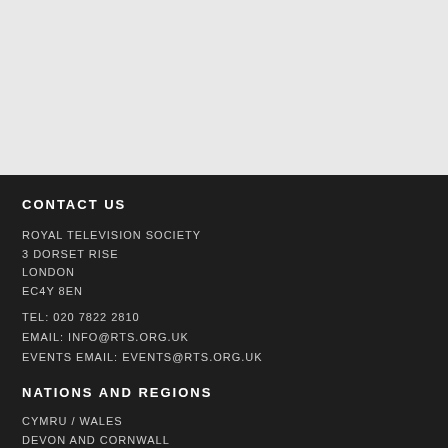CONTACT US
ROYAL TELEVISION SOCIETY
3 DORSET RISE
LONDON
EC4Y 8EN
TEL: 020 7822 2810
EMAIL: INFO@RTS.ORG.UK
EVENTS EMAIL: EVENTS@RTS.ORG.UK
NATIONS AND REGIONS
CYMRU / WALES
DEVON AND CORNWALL
EAST
ISLE OF MAN